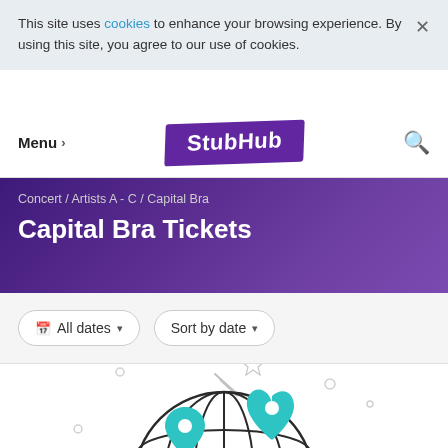This site uses cookies to enhance your browsing experience. By using this site, you agree to our use of cookies.
Menu > | StubHub | [search icon]
Concert / Artists A - C / Capital Bra
Capital Bra Tickets
All dates ▾  |  Sort by date ▾
[Figure (illustration): Globe with teal location pin markers and decorative stars/dots, used as an empty-state illustration for ticket search.]